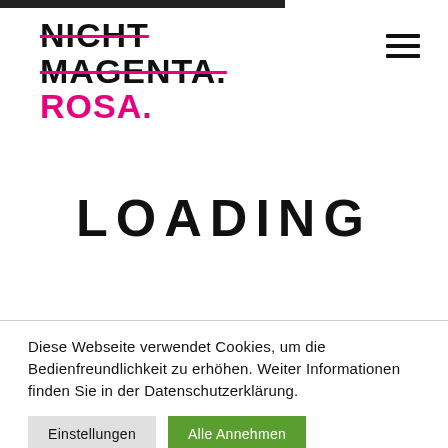[Figure (logo): Website logo reading NICHT MAGENTA. ROSA. with strikethrough on NICHT and MAGENTA in black, ROSA in magenta/pink]
LOADING
Diese Webseite verwendet Cookies, um die Bedienfreundlichkeit zu erhöhen. Weiter Informationen finden Sie in der Datenschutzerklärung.
Einstellungen
Alle Annehmen